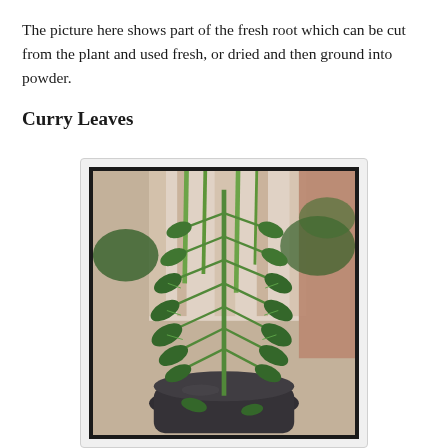The picture here shows part of the fresh root which can be cut from the plant and used fresh, or dried and then ground into powder.
Curry Leaves
[Figure (photo): A photograph of a curry leaf plant in a dark pot, showing compound leaves arranged along a central stem, with other plants and a curtained window in the background.]